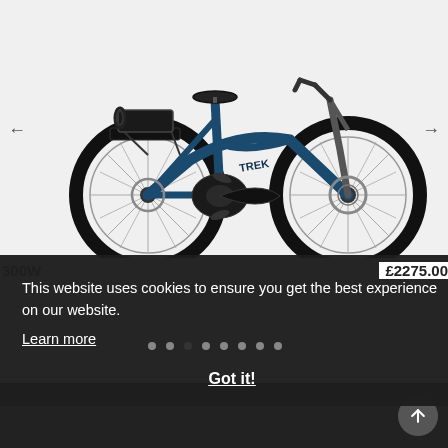[Figure (photo): A dark blue Trek e-bike (electric city bicycle) shown in side profile on a light grey background, with a rear rack, battery, disc brakes, and left/right navigation arrows on either side.]
This website uses cookies to ensure you get the best experience on our website.
Learn more
300W
2 colours +
£2275.00
Got it!